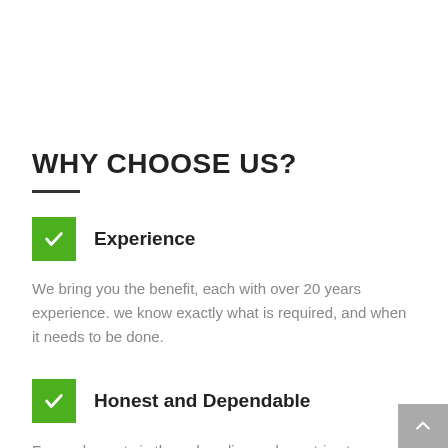WHY CHOOSE US?
Experience
We bring you the benefit, each with over 20 years experience. we know exactly what is required, and when it needs to be done.
Honest and Dependable
For us, honesty is the only policy and we strive to complete all